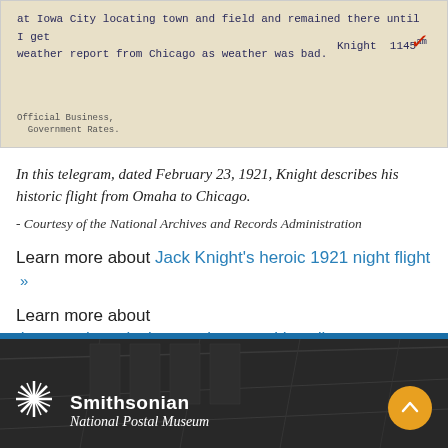[Figure (photo): A scanned telegram on aged paper with typewritten text reading: 'at Iowa City locating town and field and remained there until I get weather report from Chicago as weather was bad. Knight 1145am' with a red checkmark and bottom text 'Official Business, Government Rates.']
In this telegram, dated February 23, 1921, Knight describes his historic flight from Omaha to Chicago.
- Courtesy of the National Archives and Records Administration
Learn more about Jack Knight's heroic 1921 night flight »
Learn more about the postal service's experiments with radio »
[Figure (photo): Smithsonian National Postal Museum footer with dark museum interior background, blue strip, starburst logo, and gold scroll-to-top button]